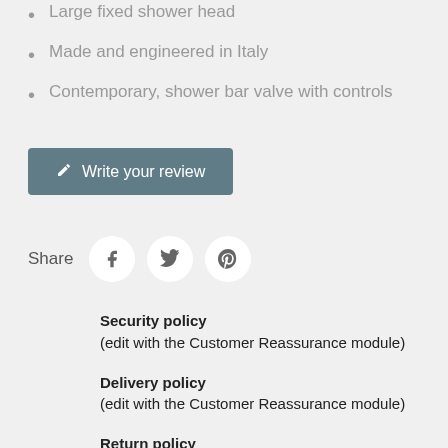Large fixed shower head
Made and engineered in Italy
Contemporary, shower bar valve with controls
Write your review
Share
Security policy
(edit with the Customer Reassurance module)
Delivery policy
(edit with the Customer Reassurance module)
Return policy
(edit with the Customer Reassurance module)